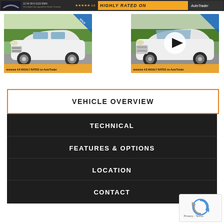[Figure (screenshot): Banner showing dealer logo, star rating, and HIGHLY RATED ON AutoTrader text]
[Figure (photo): White Hyundai Tucson SUV photographed from front-left angle in outdoor setting]
[Figure (photo): White Hyundai Tucson SUV front view with video play button overlay]
VEHICLE OVERVIEW
TECHNICAL
FEATURES & OPTIONS
LOCATION
CONTACT
[Figure (screenshot): reCAPTCHA Privacy - Terms widget in bottom right corner]